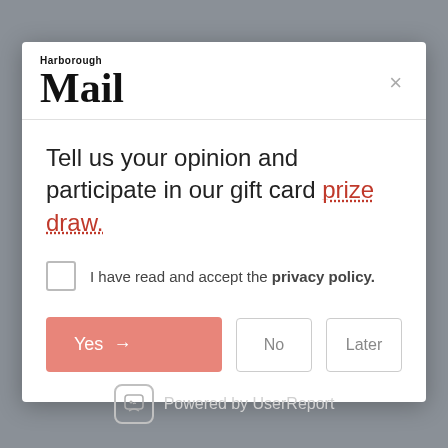[Figure (logo): Harborough Mail newspaper logo with 'Harborough' in small text above large 'Mail' in serif font]
Tell us your opinion and participate in our gift card prize draw.
I have read and accept the privacy policy.
Yes →
No
Later
Powered by UserReport